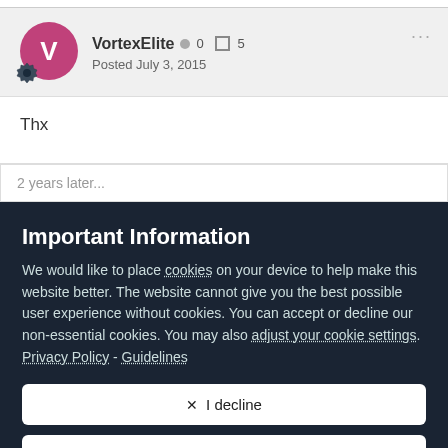[Figure (other): User avatar: pink/magenta circle with white letter V, with a dark hexagon badge with gear icon at bottom left]
VortexElite ● 0 □ 5
Posted July 3, 2015
Thx
2 years later...
Important Information
We would like to place cookies on your device to help make this website better. The website cannot give you the best possible user experience without cookies. You can accept or decline our non-essential cookies. You may also adjust your cookie settings. Privacy Policy - Guidelines
✕  I decline
✓  I accept